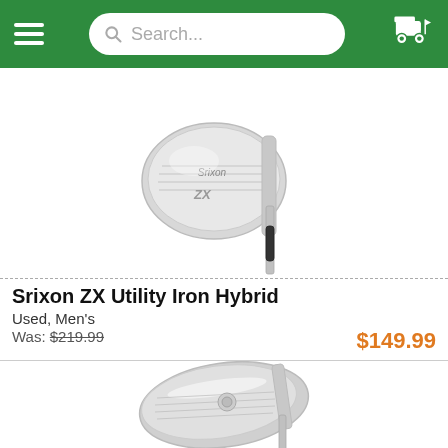Navigation bar with hamburger menu, search box, and cart icon
[Figure (photo): Srixon ZX Utility Iron Hybrid golf club, silver/chrome, shown from the side/front angle on white background]
Srixon ZX Utility Iron Hybrid
Used, Men's
Was: $219.99
$149.99
[Figure (photo): Silver/chrome golf iron club head shown from a low angle on white background]